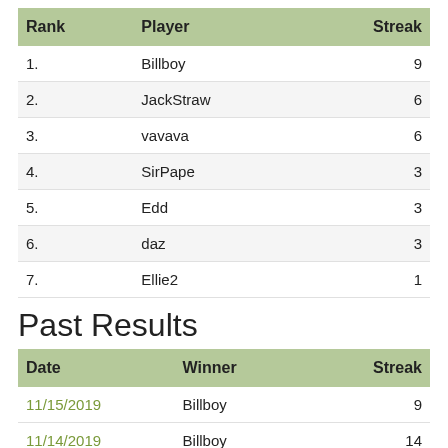| Rank | Player | Streak |
| --- | --- | --- |
| 1. | Billboy | 9 |
| 2. | JackStraw | 6 |
| 3. | vavava | 6 |
| 4. | SirPape | 3 |
| 5. | Edd | 3 |
| 6. | daz | 3 |
| 7. | Ellie2 | 1 |
Past Results
| Date | Winner | Streak |
| --- | --- | --- |
| 11/15/2019 | Billboy | 9 |
| 11/14/2019 | Billboy | 14 |